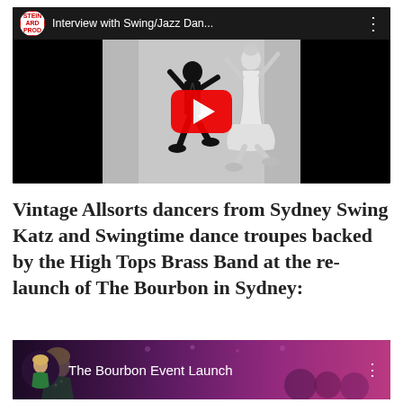[Figure (screenshot): YouTube video thumbnail for 'Interview with Swing/Jazz Dan...' showing swing dancers silhouette against black background with red YouTube play button]
Vintage Allsorts dancers from Sydney Swing Katz and Swingtime dance troupes backed by the High Tops Brass Band at the re-launch of The Bourbon in Sydney:
[Figure (screenshot): YouTube video thumbnail for 'The Bourbon Event Launch' showing a woman in green dress at an event with purple/pink lighting and crowd in background]